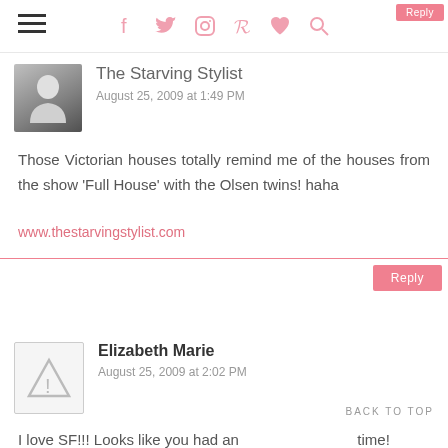Navigation bar with hamburger menu and social icons (facebook, twitter, instagram, pinterest, heart, search)
The Starving Stylist
August 25, 2009 at 1:49 PM
Those Victorian houses totally remind me of the houses from the show 'Full House' with the Olsen twins! haha
www.thestarvingstylist.com
Reply
Elizabeth Marie
August 25, 2009 at 2:02 PM
I love SF!!! Looks like you had an time!
BACK TO TOP